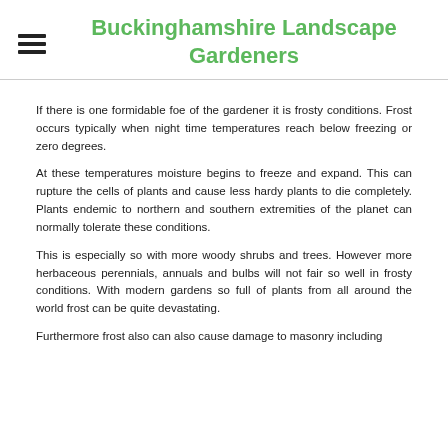Buckinghamshire Landscape Gardeners
If there is one formidable foe of the gardener it is frosty conditions. Frost occurs typically when night time temperatures reach below freezing or zero degrees.
At these temperatures moisture begins to freeze and expand. This can rupture the cells of plants and cause less hardy plants to die completely. Plants endemic to northern and southern extremities of the planet can normally tolerate these conditions.
This is especially so with more woody shrubs and trees. However more herbaceous perennials, annuals and bulbs will not fair so well in frosty conditions. With modern gardens so full of plants from all around the world frost can be quite devastating.
Furthermore frost also can also cause damage to masonry including